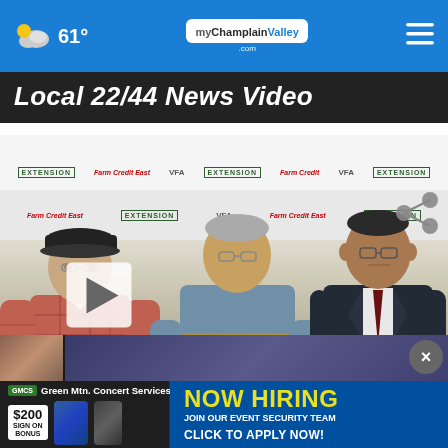61° myChamplainValley.com
Local 22/44 News Video
[Figure (photo): Three men standing in front of a sponsor backdrop. The man on the left wears a plaid shirt and a cap. The man in the middle holds a framed landscape painting/photo. The man on the right wears a dark suit. A play button overlay is visible on the left side. A Local 22 ABC channel bug shows 7:26 and 74° in the lower right corner.]
[Figure (screenshot): Advertisement for Green Mtn. Concert Services: NOW HIRING - JOIN OUR EVENT SECURITY TEAM - CLICK TO APPLY NOW! with $200 sign on bonus.]